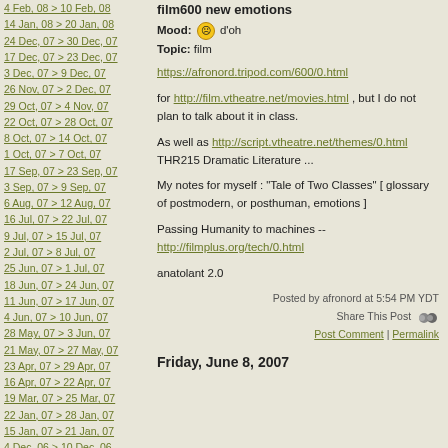4 Feb, 08 > 10 Feb, 08
14 Jan, 08 > 20 Jan, 08
24 Dec, 07 > 30 Dec, 07
17 Dec, 07 > 23 Dec, 07
3 Dec, 07 > 9 Dec, 07
26 Nov, 07 > 2 Dec, 07
29 Oct, 07 > 4 Nov, 07
22 Oct, 07 > 28 Oct, 07
8 Oct, 07 > 14 Oct, 07
1 Oct, 07 > 7 Oct, 07
17 Sep, 07 > 23 Sep, 07
3 Sep, 07 > 9 Sep, 07
6 Aug, 07 > 12 Aug, 07
16 Jul, 07 > 22 Jul, 07
9 Jul, 07 > 15 Jul, 07
2 Jul, 07 > 8 Jul, 07
25 Jun, 07 > 1 Jul, 07
18 Jun, 07 > 24 Jun, 07
11 Jun, 07 > 17 Jun, 07
4 Jun, 07 > 10 Jun, 07
28 May, 07 > 3 Jun, 07
21 May, 07 > 27 May, 07
23 Apr, 07 > 29 Apr, 07
16 Apr, 07 > 22 Apr, 07
19 Mar, 07 > 25 Mar, 07
22 Jan, 07 > 28 Jan, 07
15 Jan, 07 > 21 Jan, 07
4 Dec, 06 > 10 Dec, 06
11 Sep, 05 > 17 Sep, 06
film600 new emotions
Mood: d'oh
Topic: film
https://afronord.tripod.com/600/0.html

for http://film.vtheatre.net/movies.html , but I do not plan to talk about it in class.

As well as http://script.vtheatre.net/themes/0.html THR215 Dramatic Literature ...

My notes for myself : "Tale of Two Classes" [ glossary of postmodern, or posthuman, emotions ]

Passing Humanity to machines -- http://filmplus.org/tech/0.html

anatolant 2.0
Posted by afronord at 5:54 PM YDT
Share This Post
Post Comment | Permalink
Friday, June 8, 2007